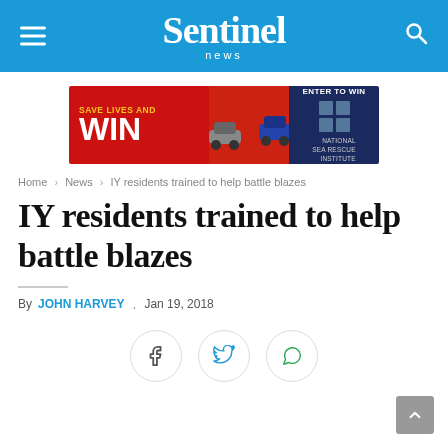Sentinel News
[Figure (infographic): Advertisement banner: SAVE LIVES AND WIN with cars, and ENTER TO WIN - NATIONAL SEA RESCUE INSTITUTE]
Home > News > IY residents trained to help battle blazes
IY residents trained to help battle blazes
By JOHN HARVEY . Jan 19, 2018